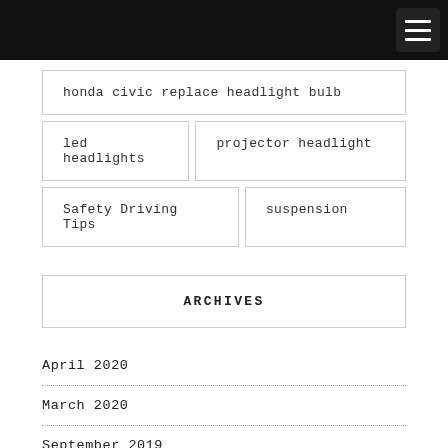honda civic replace headlight bulb
led headlights
projector headlight
Safety Driving Tips
suspension
ARCHIVES
April 2020
March 2020
September 2019
August 2019